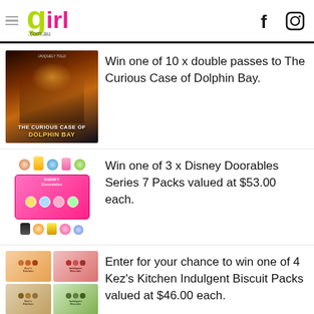girl.com.au
[Figure (photo): Promotional image for 'The Curious Case of Dolphin Bay' movie poster showing adventure scene]
Win one of 10 x double passes to The Curious Case of Dolphin Bay.
[Figure (photo): Disney Doorables Series 7 Packs product image showing small collectible figures and pink box]
Win one of 3 x Disney Doorables Series 7 Packs valued at $53.00 each.
[Figure (photo): Kez's Kitchen Indulgent Biscuit Packs product images showing multiple biscuit packs in grid layout]
Enter for your chance to win one of 4 Kez's Kitchen Indulgent Biscuit Packs valued at $46.00 each.